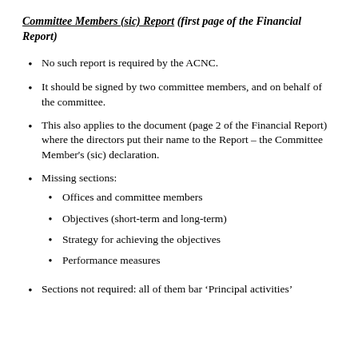Committee Members (sic) Report (first page of the Financial Report)
No such report is required by the ACNC.
It should be signed by two committee members, and on behalf of the committee.
This also applies to the document (page 2 of the Financial Report) where the directors put their name to the Report – the Committee Member's (sic) declaration.
Missing sections:
Offices and committee members
Objectives (short-term and long-term)
Strategy for achieving the objectives
Performance measures
Sections not required: all of them bar ‘Principal activities’